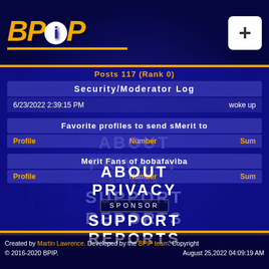BPIP logo with plus button
|  |  |
| --- | --- |
| 6/23/2022 2:39:15 PM | woke up |
Security/Moderator Log
Favorite profiles to send sMerit to
| Profile | Number | Sum |
| --- | --- | --- |
Merit Fans of bobafaviba
| Profile | Number | Sum |
| --- | --- | --- |
ABOUT
PRIVACY
SPONSOR
SUPPORT
REPORTS
Created by Martin Lawrence. Developed by the BPIP team. Copyright © 2016-2020 BPIP. August 25,2022 04:09:19 AM